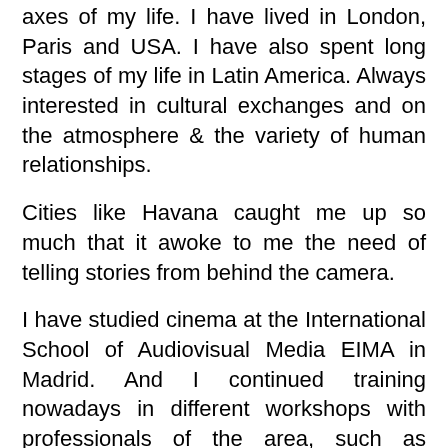axes of my life. I have lived in London, Paris and USA. I have also spent long stages of my life in Latin America. Always interested in cultural exchanges and on the atmosphere & the variety of human relationships.
Cities like Havana caught me up so much that it awoke to me the need of telling stories from behind the camera.
I have studied cinema at the International School of Audiovisual Media EIMA in Madrid. And I continued training nowadays in different workshops with professionals of the area, such as direction, script and production. I am also working along every day with professionals who inspire me.
With a bit of dizziness and a pinch in my stomach, I